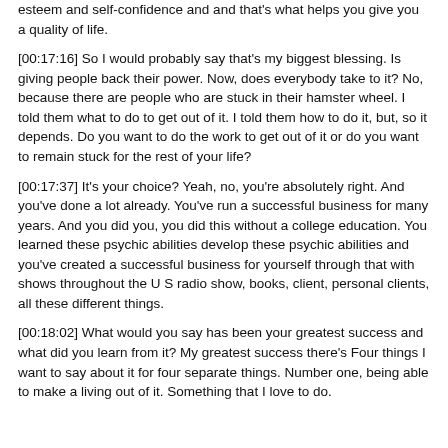esteem and self-confidence and and that's what helps you give you a quality of life.
[00:17:16] So I would probably say that's my biggest blessing. Is giving people back their power. Now, does everybody take to it? No, because there are people who are stuck in their hamster wheel. I told them what to do to get out of it. I told them how to do it, but, so it depends. Do you want to do the work to get out of it or do you want to remain stuck for the rest of your life?
[00:17:37] It's your choice? Yeah, no, you're absolutely right. And you've done a lot already. You've run a successful business for many years. And you did you, you did this without a college education. You learned these psychic abilities develop these psychic abilities and you've created a successful business for yourself through that with shows throughout the U S radio show, books, client, personal clients, all these different things.
[00:18:02] What would you say has been your greatest success and what did you learn from it? My greatest success there's Four things I want to say about it for four separate things. Number one, being able to make a living out of it. Something that I love to do.